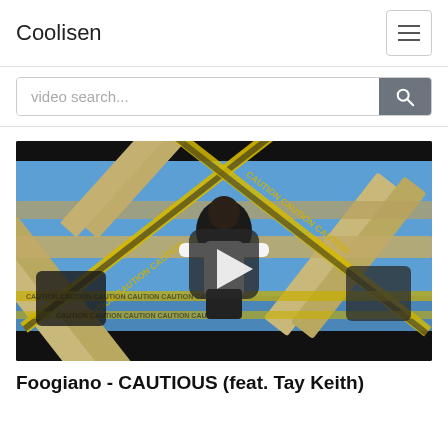Coolisen
video search...
[Figure (screenshot): Music video thumbnail showing a person in a white shirt surrounded by caution tape and wooden frames against a blue background, with a play button overlay]
Foogiano - CAUTIOUS (feat. Tay Keith)